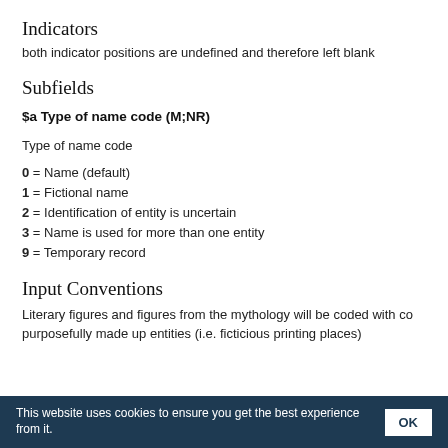Indicators
both indicator positions are undefined and therefore left blank
Subfields
$a Type of name code (M;NR)
Type of name code
0 = Name (default)
1 = Fictional name
2 = Identification of entity is uncertain
3 = Name is used for more than one entity
9 = Temporary record
Input Conventions
Literary figures and figures from the mythology will be coded with co purposefully made up entities (i.e. ficticious printing places)
This website uses cookies to ensure you get the best experience from it. OK